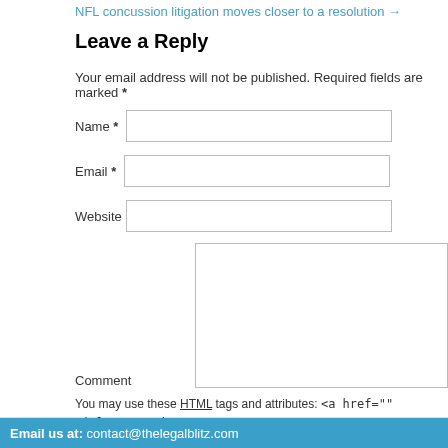NFL concussion litigation moves closer to a resolution →
Leave a Reply
Your email address will not be published. Required fields are marked *
Name *
Email *
Website
Comment
You may use these HTML tags and attributes: <a href="" title=""> <abbr title=""> <blockquote cite=""> <cite> <code> <del datetime=""> <em>
Post Comment
Email us at: contact@thelegalblitz.com